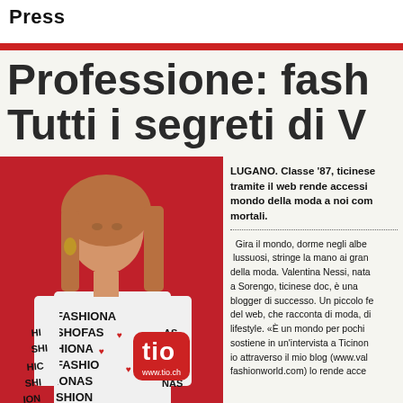Press
Professione: fash Tutti i segreti di V
[Figure (photo): Fashion blogger woman wearing a black and white shirt with fashion-related lettering, posing against a red background. Tio logo box and 'intervista' tag overlaid.]
LUGANO. Classe '87, ticinese tramite il web rende accessi mondo della moda a noi com mortali.
Gira il mondo, dorme negli albe lussuosi, stringe la mano ai gran della moda. Valentina Nessi, nata a Sorengo, ticinese doc, è una blogger di successo. Un piccolo fe del web, che racconta di moda, di lifestyle. «È un mondo per pochi sostiene in un'intervista a Ticinon io attraverso il mio blog (www.val fashionworld.com) lo rende acce